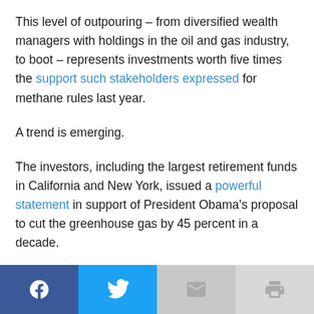This level of outpouring – from diversified wealth managers with holdings in the oil and gas industry, to boot – represents investments worth five times the support such stakeholders expressed for methane rules last year.
A trend is emerging.
The investors, including the largest retirement funds in California and New York, issued a powerful statement in support of President Obama's proposal to cut the greenhouse gas by 45 percent in a decade.
[Figure (infographic): Social sharing bar with four buttons: Facebook (dark blue), Twitter (light blue), Email (light gray), Print (light gray)]